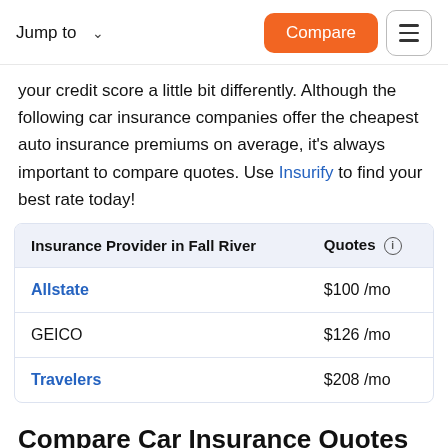Jump to   Compare
your credit score a little bit differently. Although the following car insurance companies offer the cheapest auto insurance premiums on average, it's always important to compare quotes. Use Insurify to find your best rate today!
| Insurance Provider in Fall River | Quotes |
| --- | --- |
| Allstate | $100 /mo |
| GEICO | $126 /mo |
| Travelers | $208 /mo |
Compare Car Insurance Quotes Instantly